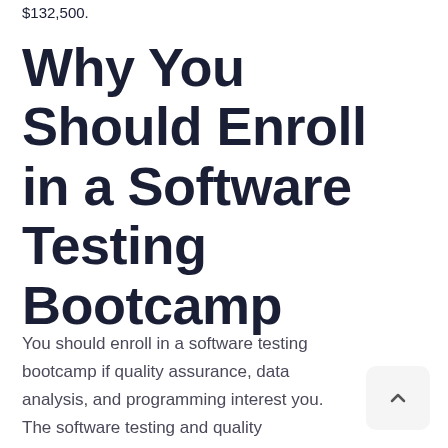$132,500.
Why You Should Enroll in a Software Testing Bootcamp
You should enroll in a software testing bootcamp if quality assurance, data analysis, and programming interest you. The software testing and quality